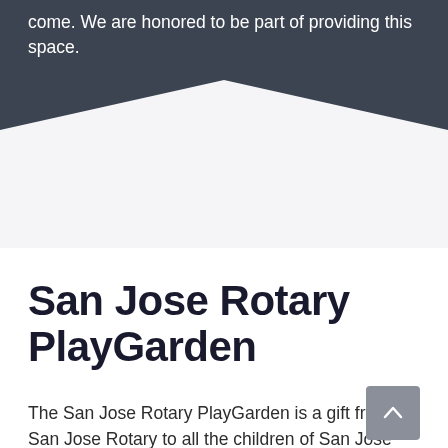come. We are honored to be part of providing this space.
[Figure (illustration): Decorative dark gray chevron/arrow shape pointing downward creating a V-shape that transitions from dark background at top to white background below]
San Jose Rotary PlayGarden
The San Jose Rotary PlayGarden is a gift from San Jose Rotary to all the children of San Jose